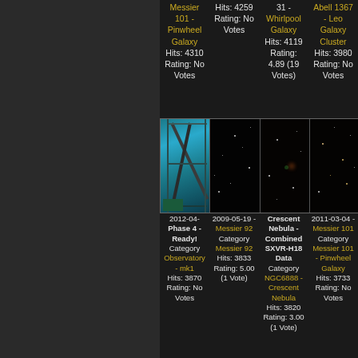Messier 101 - Pinwheel Galaxy Hits: 4310 Rating: No Votes
Hits: 4259 Rating: No Votes
31 - Whirlpool Galaxy Hits: 4119 Rating: 4.89 (19 Votes)
Abell 1367 - Leo Galaxy Cluster Hits: 3980 Rating: No Votes
[Figure (photo): Four images: door/observatory equipment (blue-green), star field dark, star field with nebula hint, star field with stars]
2012-04- Phase 4 - Ready! Category Observatory - mk1 Hits: 3870 Rating: No Votes
2009-05-19 - Messier 92 Category Messier 92 Hits: 3833 Rating: 5.00 (1 Vote)
Crescent Nebula - Combined SXVR-H18 Data Category NGC6888 - Crescent Nebula Hits: 3820 Rating: 3.00 (1 Vote)
2011-03-04 - Messier 101 Category Messier 101 - Pinwheel Galaxy Hits: 3733 Rating: No Votes